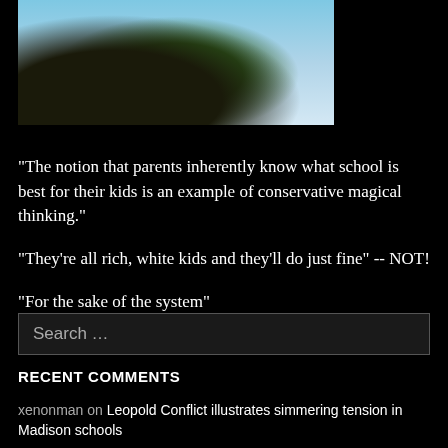[Figure (photo): Fantasy illustration of a floating island with buildings and lush vegetation, with a small boat in the sky against a blue and cloudy background]
"The notion that parents inherently know what school is best for their kids is an example of conservative magical thinking."
"They're all rich, white kids and they'll do just fine" -- NOT!
"For the sake of the system"
Search ...
RECENT COMMENTS
xenonman on Leopold Conflict illustrates simmering tension in Madison schools
xenonman on Civics: As vice president, Biden sought to remake the rules of sexual culture on college campuses and beyond. He...